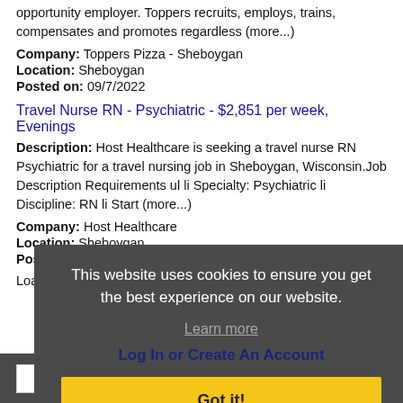opportunity employer. Toppers recruits, employs, trains, compensates and promotes regardless (more...)
Company: Toppers Pizza - Sheboygan
Location: Sheboygan
Posted on: 09/7/2022
Travel Nurse RN - Psychiatric - $2,851 per week, Evenings
Description: Host Healthcare is seeking a travel nurse RN Psychiatric for a travel nursing job in Sheboygan, Wisconsin.Job Description Requirements ul li Specialty: Psychiatric li Discipline: RN li Start (more...)
Company: Host Healthcare
Location: Sheboygan
Posted on: 09/7/2022
Loading more jobs...
This website uses cookies to ensure you get the best experience on our website.
Learn more
Log In or Create An Account
Got it!
Username: